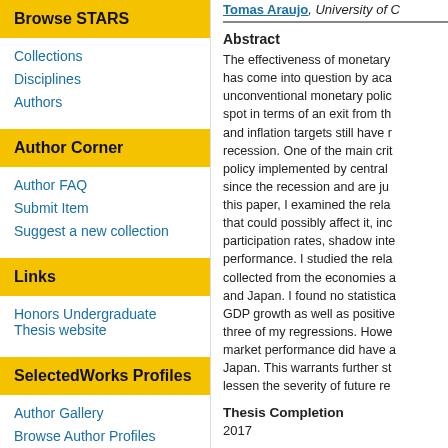Browse STARS
Collections
Disciplines
Authors
Author Corner
Author FAQ
Submit Item
Suggest a new collection
Links
Honors Undergraduate Thesis website
SelectedWorks Profiles
Author Gallery
Tomas Araujo, University of C…
Abstract
The effectiveness of monetary has come into question by aca unconventional monetary polic spot in terms of an exit from th and inflation targets still have r recession. One of the main crit policy implemented by central since the recession and are ju this paper, I examined the rela that could possibly affect it, inc participation rates, shadow inte performance. I studied the rela collected from the economies a and Japan. I found no statistica GDP growth as well as positive three of my regressions. Howe market performance did have a Japan. This warrants further st lessen the severity of future re
Thesis Completion
2017
Semester